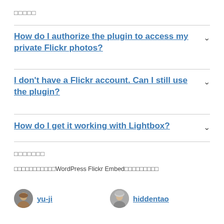□□□□□
How do I authorize the plugin to access my private Flickr photos?
I don't have a Flickr account. Can I still use the plugin?
How do I get it working with Lightbox?
□□□□□□□
□□□□□□□□□□□WordPress Flickr Embed□□□□□□□□□
yu-ji   hiddentao